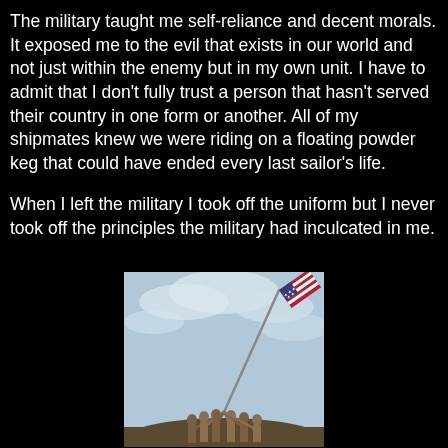The military taught me self-reliance and decent morals. It exposed me to the evil that exists in our world and not just within the enemy but in my own unit. I have to admit that I don't fully trust a person that hasn't served their country in one form or another. All of my shipmates knew we were riding on a floating powder keg that could have ended every last sailor's life.

When I left the military I took off the uniform but I never took off the principles the military had inculcated in me.
[Figure (photo): Black and white / color photo of soldiers raising the American flag at Iwo Jima, with cloudy sky background.]